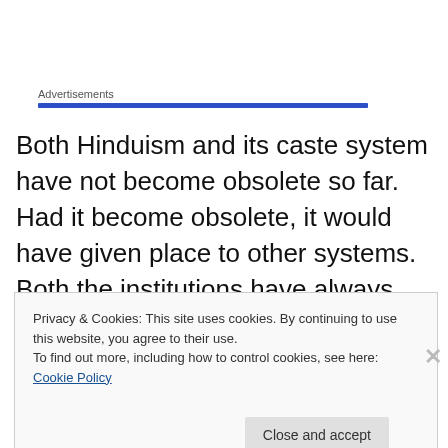Advertisements
Both Hinduism and its caste system have not become obsolete so far. Had it become obsolete, it would have given place to other systems. Both the institutions have always given the Indian society a distinguished identity and a solid social structure with a system of thought, a way of life, and sense of direction. The following facts
Privacy & Cookies: This site uses cookies. By continuing to use this website, you agree to their use.
To find out more, including how to control cookies, see here: Cookie Policy